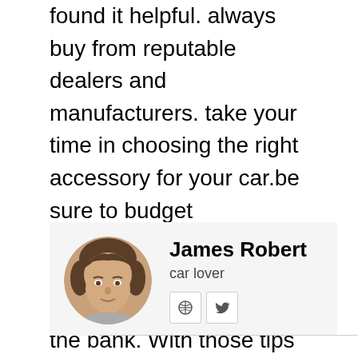found it helpful. always buy from reputable dealers and manufacturers. take your time in choosing the right accessory for your car.be sure to budget accordingly so that you can get the best possible product without breaking the bank. With those tips in mind, happy shopping!
[Figure (photo): Author card with circular portrait photo of James Robert, a young man with brown hair. Below the photo area: name 'James Robert' in bold, subtitle 'car lover', and two social icon buttons (globe and Twitter bird).]